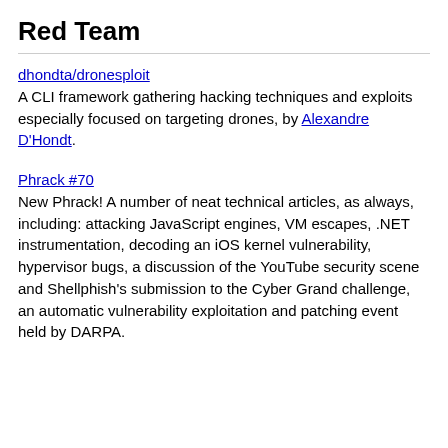Red Team
dhondta/dronesploit
A CLI framework gathering hacking techniques and exploits especially focused on targeting drones, by Alexandre D'Hondt.
Phrack #70
New Phrack! A number of neat technical articles, as always, including: attacking JavaScript engines, VM escapes, .NET instrumentation, decoding an iOS kernel vulnerability, hypervisor bugs, a discussion of the YouTube security scene and Shellphish's submission to the Cyber Grand challenge, an automatic vulnerability exploitation and patching event held by DARPA.